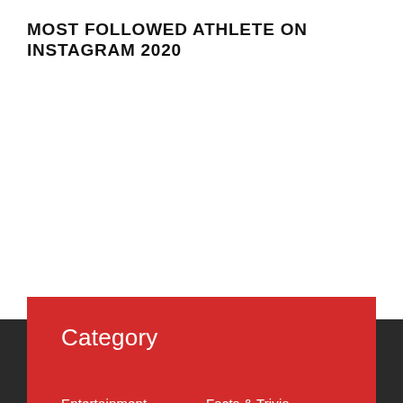MOST FOLLOWED ATHLETE ON INSTAGRAM 2020
Category
Entertainment
Facts & Trivia
Food
Gadget
Health & Fitness
Humour
Motivational
News
Sport
Travel